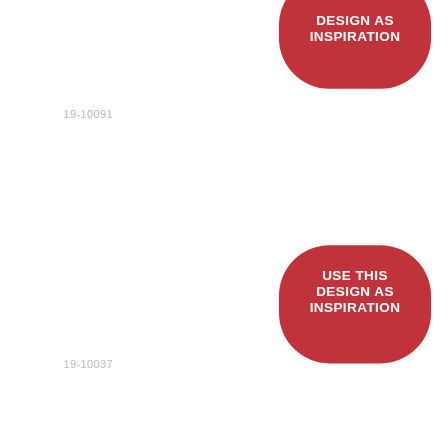[Figure (infographic): Red rounded rectangle badge with white bold text reading USE THIS DESIGN AS INSPIRATION, positioned top right, partially cropped at top]
19-10091
[Figure (infographic): Red rounded rectangle badge with white bold text reading USE THIS DESIGN AS INSPIRATION, positioned middle right]
19-10037
[Figure (infographic): Red rounded rectangle badge with white bold text reading USE THIS DESIGN AS INSPIRATION, positioned lower right]
[Figure (infographic): Red rounded rectangle badge with white bold text reading USE THIS DESIGN AS INSPIRATION, positioned bottom right, partially cropped]
19-11419